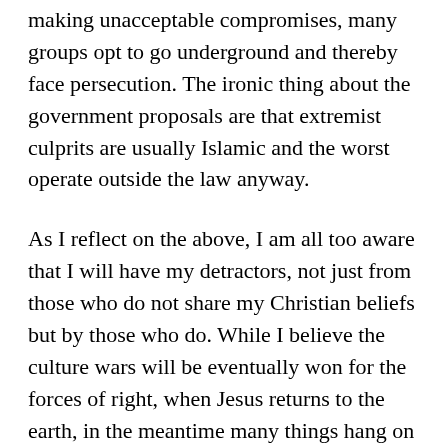making unacceptable compromises, many groups opt to go underground and thereby face persecution. The ironic thing about the government proposals are that extremist culprits are usually Islamic and the worst operate outside the law anyway.
As I reflect on the above, I am all too aware that I will have my detractors, not just from those who do not share my Christian beliefs but by those who do. While I believe the culture wars will be eventually won for the forces of right, when Jesus returns to the earth, in the meantime many things hang on which way the war is